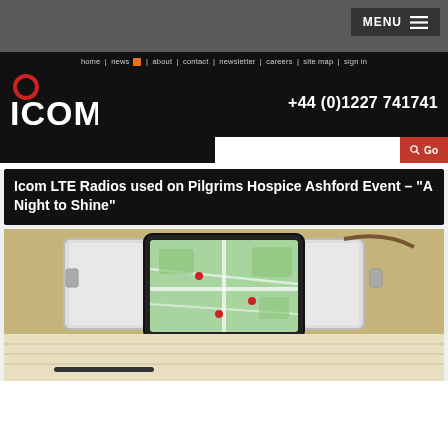MENU
home | news | about | contact | newsletter | careers | site map | sign in
[Figure (logo): ICOM logo — red circle above letters ICOM in white on black background]
+44 (0)1227 741741
Icom LTE Radios used on Pilgrims Hospice Ashford Event – "A Night to Shine"
[Figure (photo): A tablet displaying a map with location pins, propped against a silver equipment case on a wooden table with paper documents]